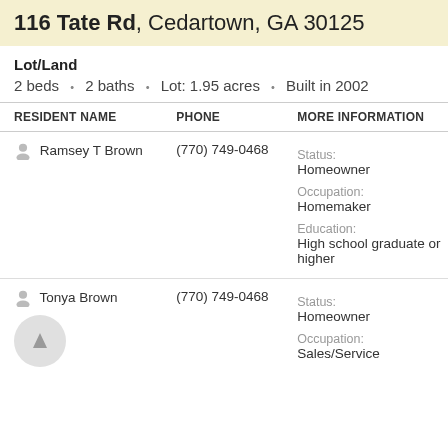116 Tate Rd, Cedartown, GA 30125
Lot/Land
2 beds · 2 baths · Lot: 1.95 acres · Built in 2002
| RESIDENT NAME | PHONE | MORE INFORMATION |
| --- | --- | --- |
| Ramsey T Brown | (770) 749-0468 | Status: Homeowner
Occupation: Homemaker
Education: High school graduate or higher |
| Tonya Brown | (770) 749-0468 | Status: Homeowner
Occupation: Sales/Service |